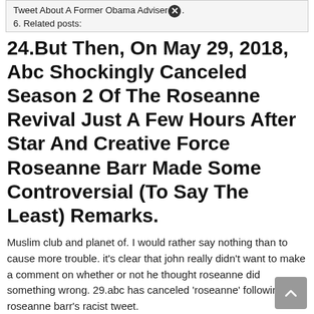Tweet About A Former Obama Adviser.
6. Related posts:
24.But Then, On May 29, 2018, Abc Shockingly Canceled Season 2 Of The Roseanne Revival Just A Few Hours After Star And Creative Force Roseanne Barr Made Some Controversial (To Say The Least) Remarks.
Muslim club and planet of. I would rather say nothing than to cause more trouble. it's clear that john really didn't want to make a comment on whether or not he thought roseanne did something wrong. 29.abc has canceled 'roseanne' following roseanne barr's racist tweet.
27.What Did Roseanne Barr Say,.